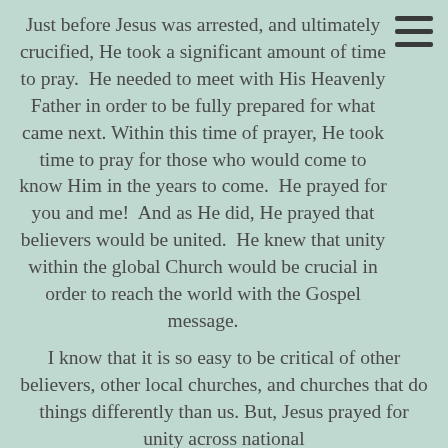[Figure (other): Hamburger menu icon (three horizontal lines) in top-right corner]
Just before Jesus was arrested, and ultimately crucified, He took a significant amount of time to pray. He needed to meet with His Heavenly Father in order to be fully prepared for what came next. Within this time of prayer, He took time to pray for those who would come to know Him in the years to come. He prayed for you and me! And as He did, He prayed that believers would be united. He knew that unity within the global Church would be crucial in order to reach the world with the Gospel message.
I know that it is so easy to be critical of other believers, other local churches, and churches that do things differently than us. But, Jesus prayed for unity across national